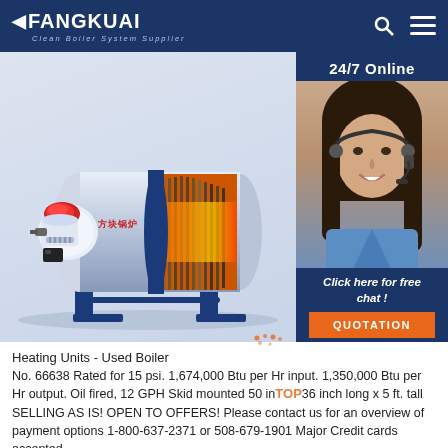FANGKUAI Clean Boiler System Supplier
[Figure (photo): Industrial oil-fired hot water boiler, horizontal cylindrical design with blue frame/stand, white and chrome body, red burner component on left side, cross-section view showing internal heating tubes with orange/yellow flame coloring. FANGKUAI brand logo visible on the boiler body.]
[Figure (photo): 24/7 Online customer service agent: woman with dark hair wearing headset and blue shirt, smiling. Sidebar shows 'Click here for free chat!' text and orange QUOTATION button.]
Heating Units - Used Boiler
No. 66638 Rated for 15 psi. 1,674,000 Btu per Hr input. 1,350,000 Btu per Hr output. Oil fired, 12 GPH Skid mounted 50 inch x 36 inch long x 5 ft. tall SELLING AS IS! OPEN TO OFFERS! Please contact us for an overview of payment options 1-800-637-2371 or 508-679-1901 Major Credit cards accepted.